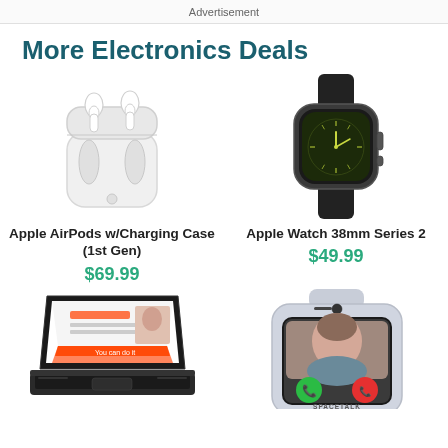Advertisement
More Electronics Deals
[Figure (photo): Apple AirPods with Charging Case (1st Gen) - white wireless earbuds in open charging case]
Apple AirPods w/Charging Case (1st Gen)
$69.99
[Figure (photo): Apple Watch 38mm Series 2 - dark/black sport model with black band]
Apple Watch 38mm Series 2
$49.99
[Figure (photo): Laptop/tablet convertible device shown in tablet mode with colorful presentation on screen]
[Figure (photo): Spacetalk kids smartwatch in light gray with video call screen showing a girl]